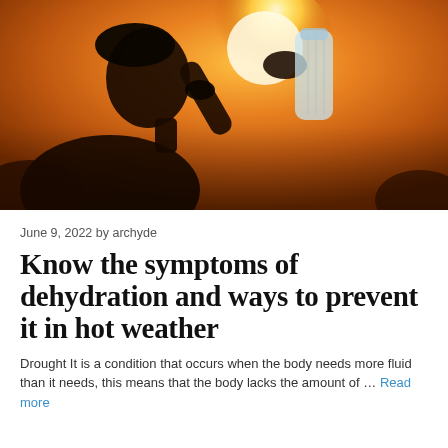[Figure (photo): Silhouette of a person drinking water from a bottle against a bright warm sunset/sun background with orange and golden tones]
June 9, 2022 by archyde
Know the symptoms of dehydration and ways to prevent it in hot weather
Drought It is a condition that occurs when the body needs more fluid than it needs, this means that the body lacks the amount of … Read more